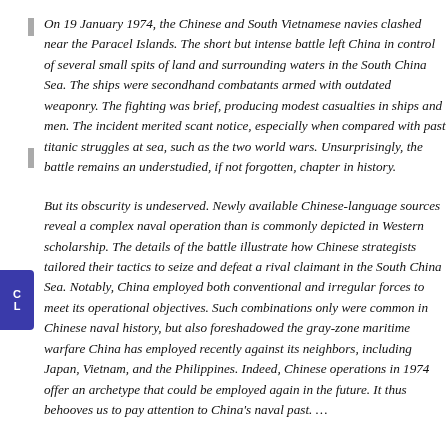On 19 January 1974, the Chinese and South Vietnamese navies clashed near the Paracel Islands. The short but intense battle left China in control of several small spits of land and surrounding waters in the South China Sea. The ships were secondhand combatants armed with outdated weaponry. The fighting was brief, producing modest casualties in ships and men. The incident merited scant notice, especially when compared with past titanic struggles at sea, such as the two world wars. Unsurprisingly, the battle remains an understudied, if not forgotten, chapter in history.
But its obscurity is undeserved. Newly available Chinese-language sources reveal a complex naval operation than is commonly depicted in Western scholarship. The details of the battle illustrate how Chinese strategists tailored their tactics to seize and defeat a rival claimant in the South China Sea. Notably, China employed both conventional and irregular forces to meet its operational objectives. Such combinations only were common in Chinese naval history, but also foreshadowed the gray-zone maritime warfare China has employed recently against its neighbors, including Japan, Vietnam, and the Philippines. Indeed, Chinese operations in 1974 offer an archetype that could be employed again in the future. It thus behooves us to pay attention to China's naval past. …